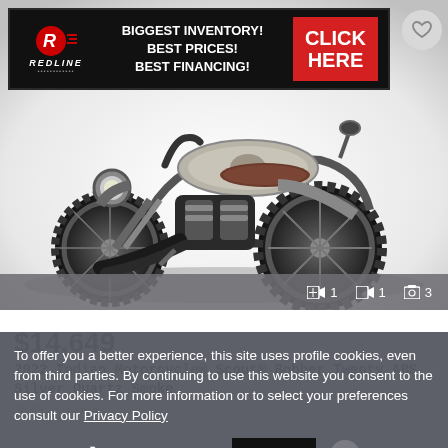[Figure (photo): Banner advertisement for Redline with text: BIGGEST INVENTORY! BEST PRICES! BEST FINANCING! and a red CLICK HERE button]
[Figure (photo): 2022 Indian Motorcycle Scout Bobber Twenty ABS Silver Quartz Smoke motorcycle photo with silver/black finish, shown against white/grey background. Media bar shows 1 video, 1 clip, 3 photos.]
$14,649
2022 Indian Motorcycle® Scout® Bobber Twenty ABS Silver Quartz Smoke
To offer you a better experience, this site uses profile cookies, even from third parties. By continuing to use this website you consent to the use of cookies. For more information or to select your preferences consult our Privacy Policy
❯ Cookie Settings   ✓ OK   ✕